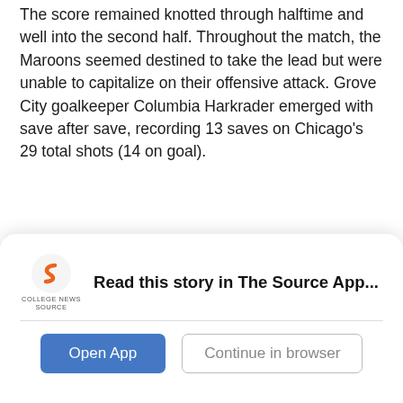The score remained knotted through halftime and well into the second half. Throughout the match, the Maroons seemed destined to take the lead but were unable to capitalize on their offensive attack. Grove City goalkeeper Columbia Harkrader emerged with save after save, recording 13 saves on Chicago's 29 total shots (14 on goal).
While the Chicago attack notched 11 corner kicks, the backline stymied the Wolverines, limiting them to just six shots (four on goal) and no corner kicks.
With only four minutes left on the scoreboard, Grove
[Figure (other): College News Source app banner with logo, 'Read this story in The Source App...' message, and two buttons: 'Open App' and 'Continue in browser']